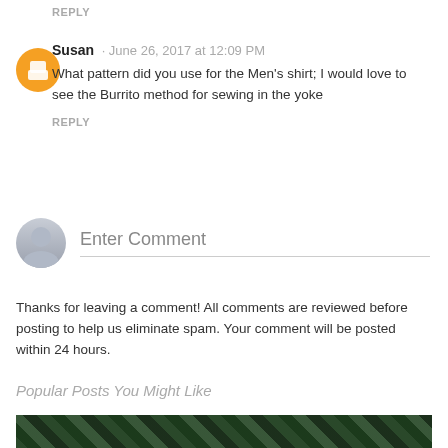REPLY
Susan · June 26, 2017 at 12:09 PM
What pattern did you use for the Men's shirt; I would love to see the Burrito method for sewing in the yoke
REPLY
Enter Comment
Thanks for leaving a comment! All comments are reviewed before posting to help us eliminate spam. Your comment will be posted within 24 hours.
Popular Posts You Might Like
[Figure (photo): Dark botanical leaf pattern image at bottom of page]